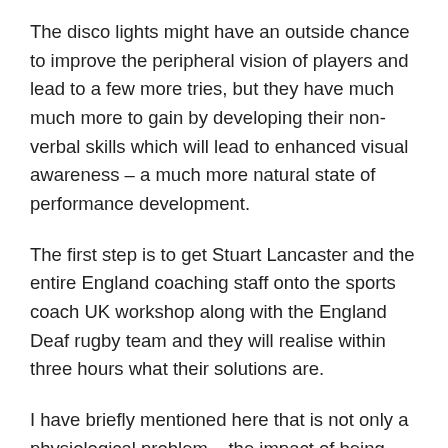The disco lights might have an outside chance to improve the peripheral vision of players and lead to a few more tries, but they have much much more to gain by developing their non-verbal skills which will lead to enhanced visual awareness – a much more natural state of performance development.
The first step is to get Stuart Lancaster and the entire England coaching staff onto the sports coach UK workshop along with the England Deaf rugby team and they will realise within three hours what their solutions are.
I have briefly mentioned here that is not only a physiological problem – the impact of being unable to hear, but it is also a sociological problem – the stigmatisation of deafness. The impact of Milan 1880 and